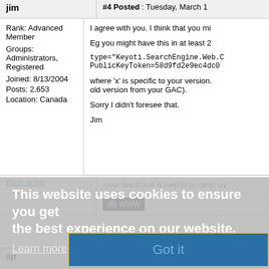jim
#4 Posted : Tuesday, March 1
Rank: Advanced Member
Groups: Administrators, Registered
Joined: 8/13/2004
Posts: 2,653
Location: Canada
I agree with you. I think that you mi
Eg you might have this in at least 2
type="Keyoti.SearchEngine.Web.C
PublicKeyToken=58d9fd2e9ec4dc0
where 'x' is specific to your version.
old version from your GAC).
Sorry I didn't foresee that.
Jim
-your feedback is helpful to other us
This website uses cookies to ensure you get the best experience on our website.
Learn more
Back to top
WWW
Got it
ajr
#5 Posted : Thursday, March 19